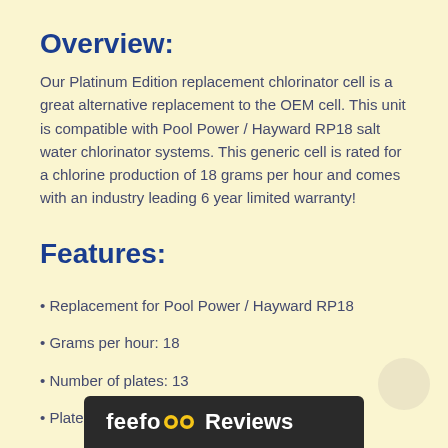Overview:
Our Platinum Edition replacement chlorinator cell is a great alternative replacement to the OEM cell. This unit is compatible with Pool Power / Hayward RP18 salt water chlorinator systems. This generic cell is rated for a chlorine production of 18 grams per hour and comes with an industry leading 6 year limited warranty!
Features:
Replacement for Pool Power / Hayward RP18
Grams per hour: 18
Number of plates: 13
Plate length: 75...